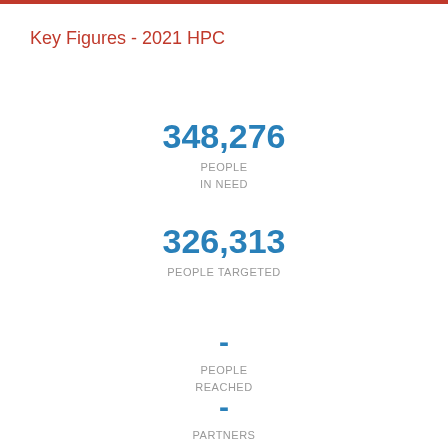Key Figures - 2021 HPC
348,276
PEOPLE
IN NEED
326,313
PEOPLE TARGETED
-
PEOPLE
REACHED
-
PARTNERS